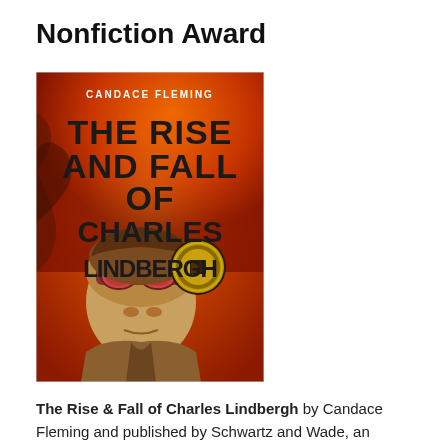Nonfiction Award
[Figure (photo): Book cover of 'The Rise and Fall of Charles Lindbergh' by Candace Fleming. Red and orange background with a pilot wearing goggles. Large bold black text shows the title. A gold award medallion is visible on the cover.]
The Rise & Fall of Charles Lindbergh by Candace Fleming and published by Schwartz and Wade, an imprint of Random House Children's Books, a division of Penguin Random House. 9780525646549.